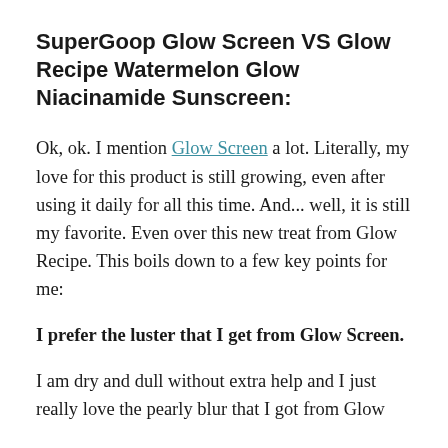SuperGoop Glow Screen VS Glow Recipe Watermelon Glow Niacinamide Sunscreen:
Ok, ok. I mention Glow Screen a lot. Literally, my love for this product is still growing, even after using it daily for all this time. And... well, it is still my favorite. Even over this new treat from Glow Recipe. This boils down to a few key points for me:
I prefer the luster that I get from Glow Screen.
I am dry and dull without extra help and I just really love the pearly blur that I got from Glow